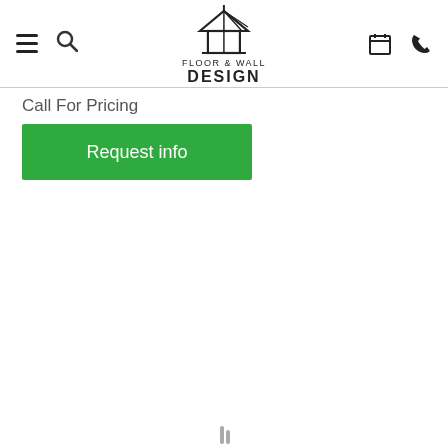Floor & Wall Design — navigation header with hamburger menu, search, logo, calendar and phone icons
Call For Pricing
Request info